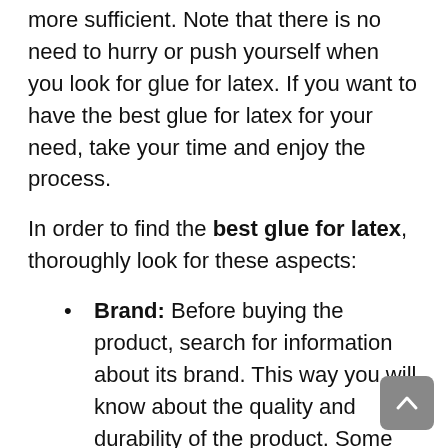more sufficient. Note that there is no need to hurry or push yourself when you look for glue for latex. If you want to have the best glue for latex for your need, take your time and enjoy the process.
In order to find the best glue for latex, thoroughly look for these aspects:
Brand: Before buying the product, search for information about its brand. This way you will know about the quality and durability of the product. Some brands give a longer warranty and this can be a great thing to consider.
Features: What makes the product different from the others? What are the main features that make it stand out? One of the most